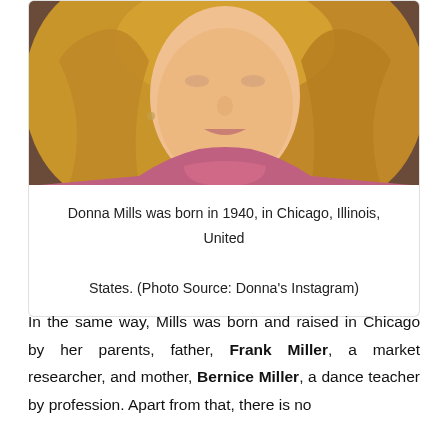[Figure (photo): Close-up portrait photo of a woman with blonde wavy hair wearing a pink turtleneck sweater]
Donna Mills was born in 1940, in Chicago, Illinois, United States. (Photo Source: Donna's Instagram)
In the same way, Mills was born and raised in Chicago by her parents, father, Frank Miller, a market researcher, and mother, Bernice Miller, a dance teacher by profession. Apart from that, there is no